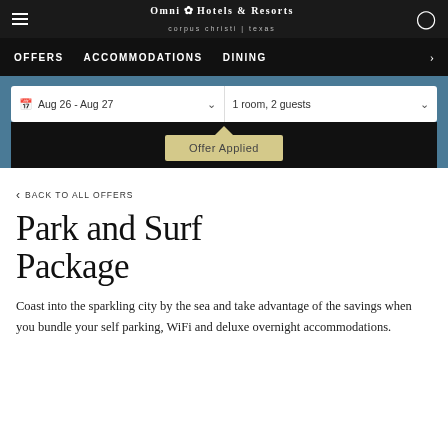Omni Hotels & Resorts corpus christi | texas
OFFERS  ACCOMMODATIONS  DINING
Aug 26 - Aug 27  1 room, 2 guests
Offer Applied
< BACK TO ALL OFFERS
PARK AND SURF PACKAGE
Coast into the sparkling city by the sea and take advantage of the savings when you bundle your self parking, WiFi and deluxe overnight accommodations.